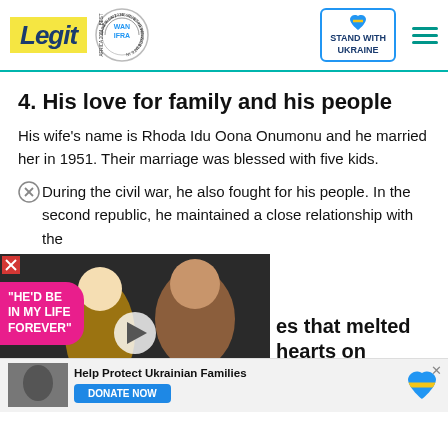Legit | WAN IFRA 2021 Best News Website in Africa | Stand With Ukraine
4. His love for family and his people
His wife's name is Rhoda Idu Oona Onumonu and he married her in 1951. Their marriage was blessed with five kids.
During the civil war, he also fought for his people. In the second republic, he maintained a close relationship with the
[Figure (screenshot): Video thumbnail showing a couple with overlay text 'HE'D BE IN MY LIFE FOREVER' and a play button]
es that melted hearts on
[Figure (infographic): Bottom banner: Help Protect Ukrainian Families with DONATE NOW button and Ukrainian flag heart icon]